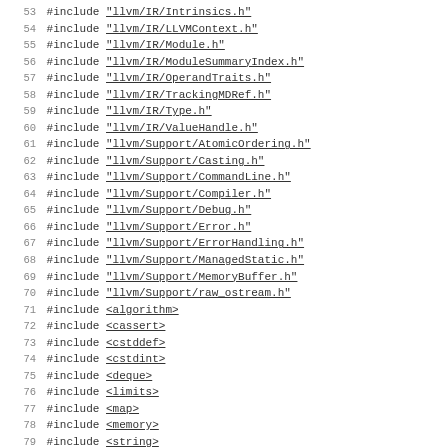53 #include "llvm/IR/Intrinsics.h"
54 #include "llvm/IR/LLVMContext.h"
55 #include "llvm/IR/Module.h"
56 #include "llvm/IR/ModuleSummaryIndex.h"
57 #include "llvm/IR/OperandTraits.h"
58 #include "llvm/IR/TrackingMDRef.h"
59 #include "llvm/IR/Type.h"
60 #include "llvm/IR/ValueHandle.h"
61 #include "llvm/Support/AtomicOrdering.h"
62 #include "llvm/Support/Casting.h"
63 #include "llvm/Support/CommandLine.h"
64 #include "llvm/Support/Compiler.h"
65 #include "llvm/Support/Debug.h"
66 #include "llvm/Support/Error.h"
67 #include "llvm/Support/ErrorHandling.h"
68 #include "llvm/Support/ManagedStatic.h"
69 #include "llvm/Support/MemoryBuffer.h"
70 #include "llvm/Support/raw_ostream.h"
71 #include <algorithm>
72 #include <cassert>
73 #include <cstddef>
74 #include <cstdint>
75 #include <deque>
76 #include <limits>
77 #include <map>
78 #include <memory>
79 #include <string>
80 #include <system_error>
81 #include <tuple>
82 #include <utility>